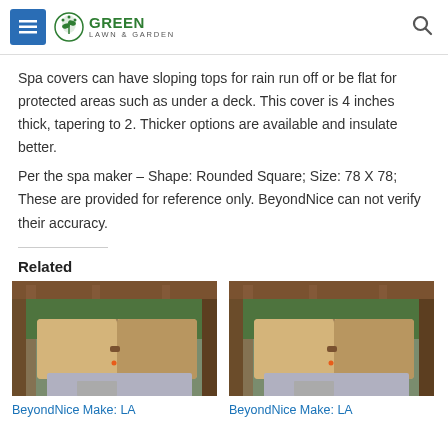GREEN LAWN & GARDEN
Spa covers can have sloping tops for rain run off or be flat for protected areas such as under a deck. This cover is 4 inches thick, tapering to 2. Thicker options are available and insulate better.
Per the spa maker – Shape: Rounded Square; Size: 78 X 78; These are provided for reference only. BeyondNice can not verify their accuracy.
Related
[Figure (photo): Spa cover on a hot tub, brown/tan color, viewed from slightly above, with wooden pergola structure around it]
BeyondNice Make: LA
[Figure (photo): Spa cover on a hot tub, brown/tan color, viewed from slightly above, with wooden pergola structure around it]
BeyondNice Make: LA